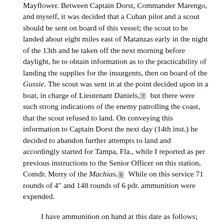Mayflower. Between Captain Dorst, Commander Marengo, and myself, it was decided that a Cuban pilot and a scout should be sent on board of this vessel; the scout to be landed about eight miles east of Matanzas early in the night of the 13th and be taken off the next morning before daylight, he to obtain information as to the practicability of landing the supplies for the insurgents, then on board of the Gussie. The scout was sent in at the point decided upon in a boat, in charge of Lieutenant Daniels,[7] but there were such strong indications of the enemy patrolling the coast, that the scout refused to land. On conveying this information to Captain Dorst the next day (14th inst.) he decided to abandon further attempts to land and accordingly started for Tampa, Fla., while I reported as per previous instructions to the Senior Officer on this station, Comdr. Merry of the Machias.[8] While on this service 71 rounds of 4" and 148 rounds of 6 pdr. ammunition were expended.
I have ammunition on hand at this date as follows; viz:-
4" Shrapnel - 38 rounds.
4" A.P.Shell - 145 rounds.
4" Common Shell - xxxxxxxxxxx. 196 rounds.